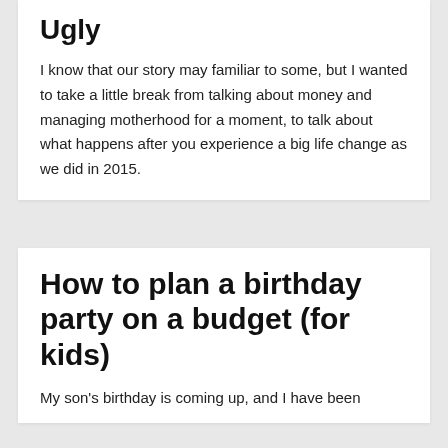Ugly
I know that our story may familiar to some, but I wanted to take a little break from talking about money and managing motherhood for a moment, to talk about what happens after you experience a big life change as we did in 2015.
How to plan a birthday party on a budget (for kids)
My son's birthday is coming up, and I have been